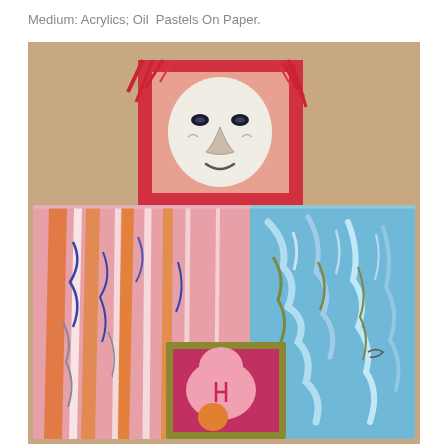Medium: Acrylics; Oil Pastels On Paper.
[Figure (illustration): An abstract expressionist artwork made with acrylics and oil pastels on paper. The composition features a stylized figure-like form made of rectangular blocks. At the top, a red-bordered square contains a white face with dark eyes, nose, and mouth, framed by red hair-like strokes. Below are two large sections: the left portion filled with vibrant orange, pink, blue, and white vertical streaks, and the right portion with swirling light blue, green, and brown strokes. In the lower-center, a smaller gold/olive-framed rectangle contains a pink rounded figure with an orange ball. The background is a warm tan/beige color.]